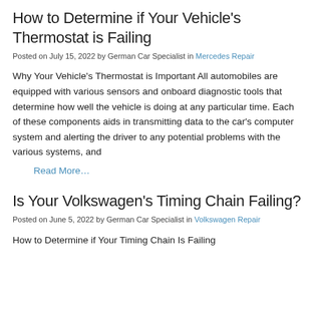How to Determine if Your Vehicle's Thermostat is Failing
Posted on July 15, 2022 by German Car Specialist in Mercedes Repair
Why Your Vehicle's Thermostat is Important All automobiles are equipped with various sensors and onboard diagnostic tools that determine how well the vehicle is doing at any particular time. Each of these components aids in transmitting data to the car's computer system and alerting the driver to any potential problems with the various systems, and
Read More…
Is Your Volkswagen's Timing Chain Failing?
Posted on June 5, 2022 by German Car Specialist in Volkswagen Repair
How to Determine if Your Timing Chain Is Failing